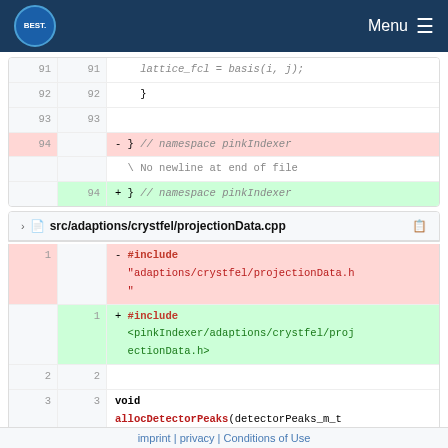BEST Menu
[Figure (screenshot): Code diff showing lines 91-94 with deleted line '- } // namespace pinkIndexer' and added line '+ } // namespace pinkIndexer' with 'No newline at end of file' message]
src/adaptions/crystfel/projectionData.cpp
[Figure (screenshot): Code diff for projectionData.cpp showing deleted #include "adaptions/crystfel/projectionData.h" replaced with #include <pinkIndexer/adaptions/crystfel/projectionData.h>, followed by lines 2-4 with void allocDetectorPeaks(detectorPeaks_m_t * detectorPeaks_m) and opening brace]
imprint | privacy | Conditions of Use